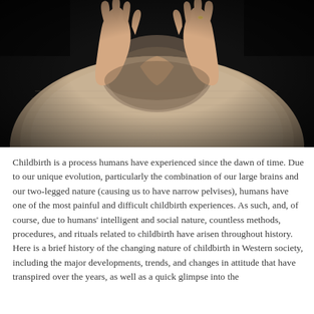[Figure (photo): Close-up photo of a pregnant woman's belly covered in a beige/tan knit sweater, with her hands forming a heart shape on top of the belly. The background is dark/black. She appears to be wearing a ring on one finger.]
Childbirth is a process humans have experienced since the dawn of time. Due to our unique evolution, particularly the combination of our large brains and our two-legged nature (causing us to have narrow pelvises), humans have one of the most painful and difficult childbirth experiences. As such, and, of course, due to humans' intelligent and social nature, countless methods, procedures, and rituals related to childbirth have arisen throughout history. Here is a brief history of the changing nature of childbirth in Western society, including the major developments, trends, and changes in attitude that have transpired over the years, as well as a quick glimpse into the